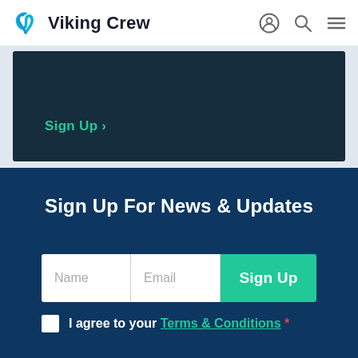Viking Crew
Sign Up >
Sign Up For News & Updates
Name | Email | Sign Up
I agree to your Terms & Conditions *